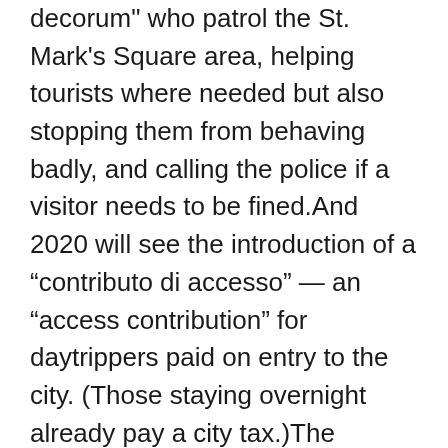decorum" who patrol the St. Mark's Square area, helping tourists where needed but also stopping them from behaving badly, and calling the police if a visitor needs to be fined.And 2020 will see the introduction of a “contributo di accesso” — an “access contribution” for daytrippers paid on entry to the city. (Those staying overnight already pay a city tax.)The announcement made headlines around the world in December 2018, but the implementation has been continually delayed. Initially it was slated for May 2019, then September, then January 2020.Zuin says that the delays are due to a government decision that payment must be made to the transport companies taking visitors to Venice — but the transport companies’ refusal.They have now found a solution that will have the